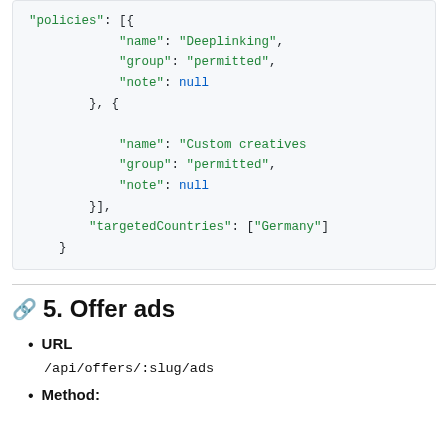"policies": [{
"name": "Deeplinking",
"group": "permitted",
"note": null
}, {
"name": "Custom creatives
"group": "permitted",
"note": null
}],
"targetedCountries": ["Germany"]
}
5. Offer ads
URL
/api/offers/:slug/ads
Method: